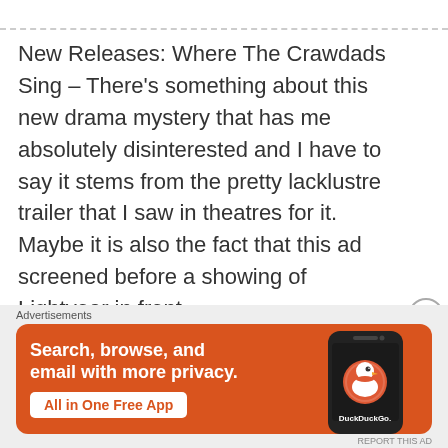New Releases: Where The Crawdads Sing – There's something about this new drama mystery that has me absolutely disinterested and I have to say it stems from the pretty lacklustre trailer that I saw in theatres for it. Maybe it is also the fact that this ad screened before a showing of Lightyear in front …
[Figure (infographic): DuckDuckGo advertisement banner on orange background. Text: 'Search, browse, and email with more privacy. All in One Free App' with a phone showing DuckDuckGo logo.]